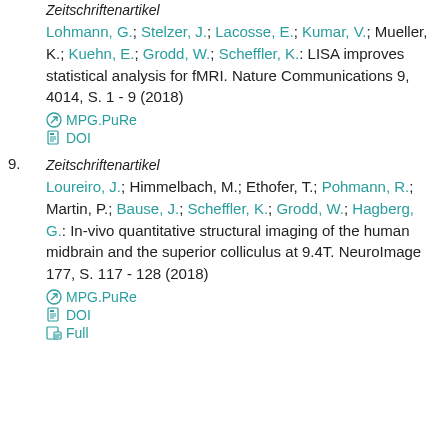Zeitschriftenartikel
Lohmann, G.; Stelzer, J.; Lacosse, E.; Kumar, V.; Mueller, K.; Kuehn, E.; Grodd, W.; Scheffler, K.: LISA improves statistical analysis for fMRI. Nature Communications 9, 4014, S. 1 - 9 (2018)
MPG.PuRe
DOI
9.
Zeitschriftenartikel
Loureiro, J.; Himmelbach, M.; Ethofer, T.; Pohmann, R.; Martin, P.; Bause, J.; Scheffler, K.; Grodd, W.; Hagberg, G.: In-vivo quantitative structural imaging of the human midbrain and the superior colliculus at 9.4T. NeuroImage 177, S. 117 - 128 (2018)
MPG.PuRe
DOI
Full